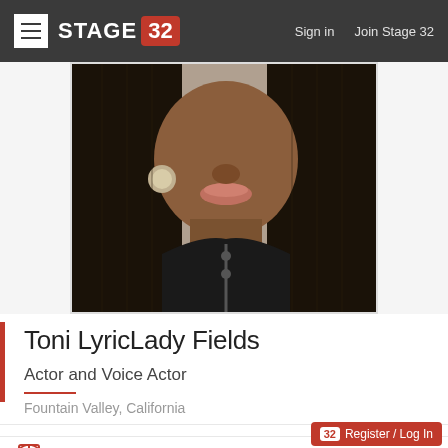STAGE 32 | Sign in | Join Stage 32
[Figure (photo): Profile photo of Toni LyricLady Fields, a woman with long braids wearing a jacket, photographed from the shoulders up]
Toni LyricLady Fields
Actor and Voice Actor
Fountain Valley, California
Lounge Posts (0)
Toni's Wall (1)
Register / Log In